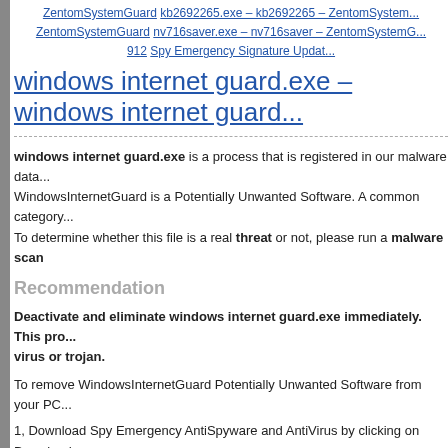ZentomSystemGuard kb2692265.exe – kb2692265 – ZentomSystem... ZentomSystemGuard nv716saver.exe – nv716saver – ZentomSystemG... 912 Spy Emergency Signature Update
windows internet guard.exe – windows internet guard...
windows internet guard.exe is a process that is registered in our malware data... WindowsInternetGuard is a Potentially Unwanted Software. A common category... To determine whether this file is a real threat or not, please run a malware scan
Recommendation
Deactivate and eliminate windows internet guard.exe immediately. This pro... virus or trojan.
To remove WindowsInternetGuard Potentially Unwanted Software from your PC...
1, Download Spy Emergency AntiSpyware and AntiVirus by clicking on Download...
[Figure (other): DOWNLOAD button with download icon]
2, Install it and press Start button to start malware scan.
3, When the scan is finished, press the Next button and Remove button to clean... Software from your system.
Spyware / Malware Description: